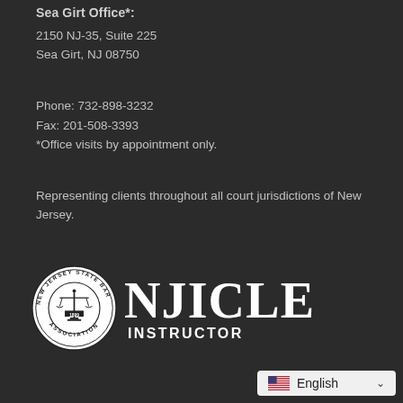Sea Girt Office*:
2150 NJ-35, Suite 225
Sea Girt, NJ 08750
Phone: 732-898-3232
Fax: 201-508-3393
*Office visits by appointment only.
Representing clients throughout all court jurisdictions of New Jersey.
[Figure (logo): New Jersey State Bar Association seal (circular seal with scales of justice, 1899) alongside NJICLE INSTRUCTOR text logo]
English